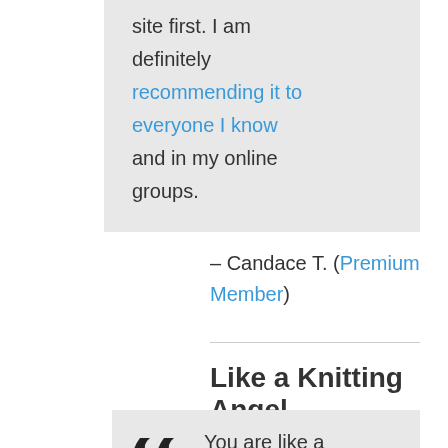site first. I am definitely recommending it to everyone I know and in my online groups.
– Candace T. (Premium Member)
Like a Knitting Angel
You are like a little knitting angel